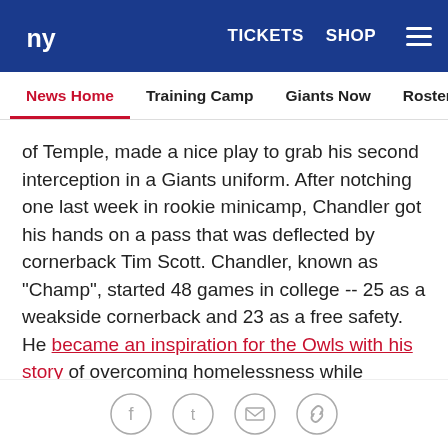NY Giants | TICKETS SHOP
News Home | Training Camp | Giants Now | Roster Moves | Fact o
of Temple, made a nice play to grab his second interception in a Giants uniform. After notching one last week in rookie minicamp, Chandler got his hands on a pass that was deflected by cornerback Tim Scott. Chandler, known as "Champ", started 48 games in college -- 25 as a weakside cornerback and 23 as a free safety. He became an inspiration for the Owls with his story of overcoming homelessness while growing up in Camden, New Jersey.
"Well, we are impressed by him already," Shurmur said. "Certainly his background is well-known and you're